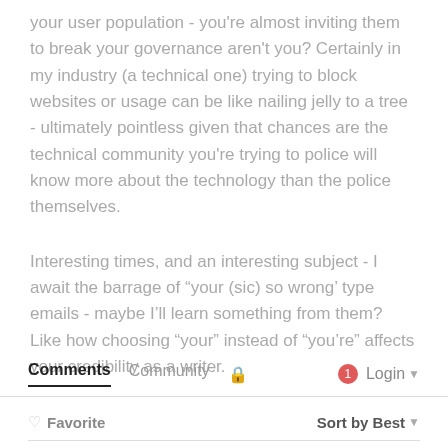your user population - you're almost inviting them to break your governance aren't you? Certainly in my industry (a technical one) trying to block websites or usage can be like nailing jelly to a tree - ultimately pointless given that chances are the technical community you're trying to police will know more about the technology than the police themselves.
Interesting times, and an interesting subject - I await the barrage of “your (sic) so wrong’ type emails - maybe I’ll learn something from them? Like how choosing “your” instead of “you’re” affects your credibility as a writer.
Comments  Community  🔒  1  Login
♥ Favorite    Sort by Best